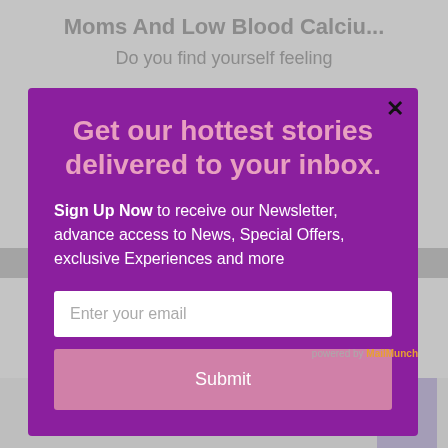Moms And Low Blood Calciu...
Do you find yourself feeling
Get our hottest stories delivered to your inbox.
Sign Up Now to receive our Newsletter, advance access to News, Special Offers, exclusive Experiences and more
Enter your email
Submit
We'll assume you're ok with this, but you can opt-out if
powered by MailMunch